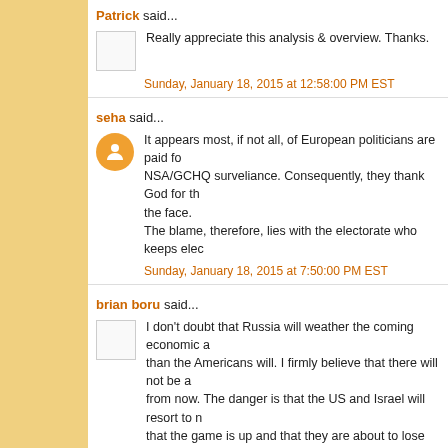Patrick said...
Really appreciate this analysis & overview. Thanks.
Sunday, January 18, 2015 at 12:58:00 PM EST
seha said...
It appears most, if not all, of European politicians are paid for NSA/GCHQ surveliance. Consequently, they thank God for the face. The blame, therefore, lies with the electorate who keeps elec...
Sunday, January 18, 2015 at 7:50:00 PM EST
brian boru said...
I don't doubt that Russia will weather the coming economic a... than the Americans will. I firmly believe that there will not be a... from now. The danger is that the US and Israel will resort to n... that the game is up and that they are about to lose their pre-e... Russians are fortunate to have a strong, intelligent leader like...
Monday, January 19, 2015 at 6:39:00 AM EST
Unknown said...
Dear mr. Orlov, thanks a lot ! It is what I really know from long ago about Russia and Russi... It is true: Russia it a civilisation by it's self, and a great one. N...